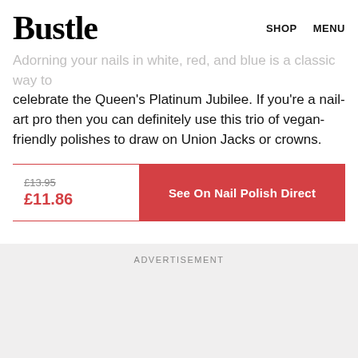Bustle  SHOP  MENU
Adorning your nails in white, red, and blue is a classic way to celebrate the Queen's Platinum Jubilee. If you're a nail-art pro then you can definitely use this trio of vegan-friendly polishes to draw on Union Jacks or crowns.
£13.95
£11.86
See On Nail Polish Direct
ADVERTISEMENT